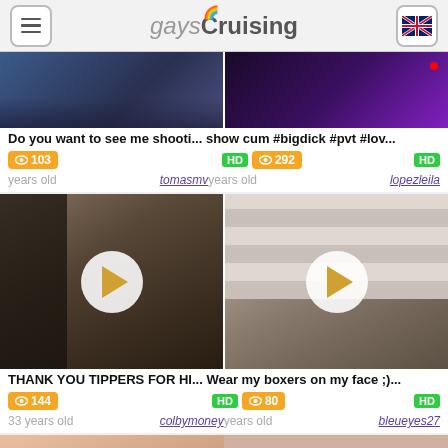gaysCruising
[Figure (screenshot): Two video thumbnails side by side - left shows blue-toned bedroom scene, right shows dark room with purple lighting]
Do you want to see me shooti... show cum #bigdick #pvt #lov...
👁103  HD 👁292  HD
years old  tomasmv years old  lopezleila
[Figure (screenshot): Two large video thumbnails with play buttons - left shows indoor room, right shows shirtless male torso]
THANK YOU TIPPERS FOR HI... Wear my boxers on my face ;)...
👁144  HD 👁80  HD
33 years old  colbymoney years old  bleueyes27
[Figure (screenshot): Partial thumbnail of person wearing red cap with fur collar]